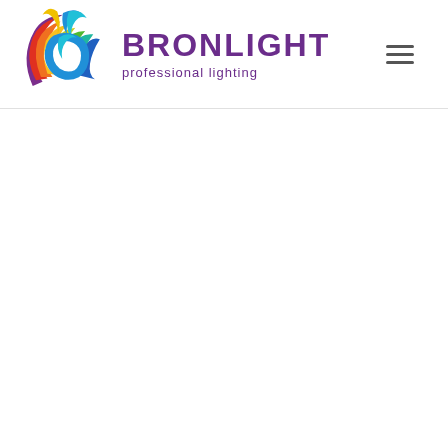[Figure (logo): Bronlight professional lighting logo: colorful circular flame/leaf emblem with rainbow colors (purple, blue, cyan, green, yellow, orange, red) on the left, and the text BRONLIGHT in large bold purple letters with 'professional lighting' in smaller purple text below, plus a hamburger menu icon on the right.]